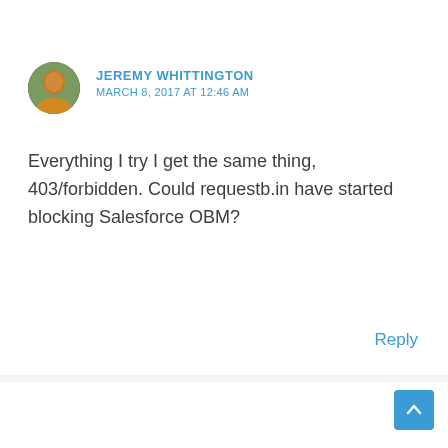JEREMY WHITTINGTON
MARCH 8, 2017 AT 12:46 AM
Everything I try I get the same thing, 403/forbidden. Could requestb.in have started blocking Salesforce OBM?
Reply
VIRENDRA YADAV
FEBRUARY 21, 2017 AT 8:07 PM